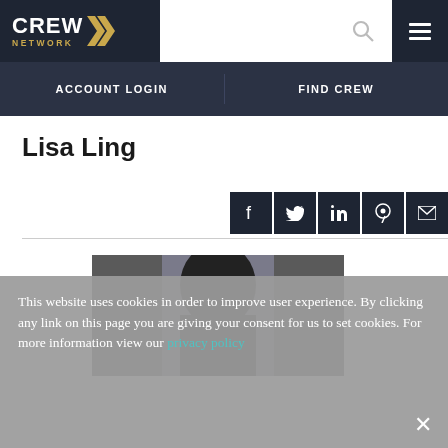[Figure (logo): CREW Network logo with chevron arrows, white text on dark background]
ACCOUNT LOGIN | FIND CREW
Lisa Ling
[Figure (photo): Profile photo of Lisa Ling, partially visible, dark hair, gray background]
This website uses cookies in order to improve user experience. By clicking any link on this page you are giving your consent for us to set cookies. For more information view our privacy policy